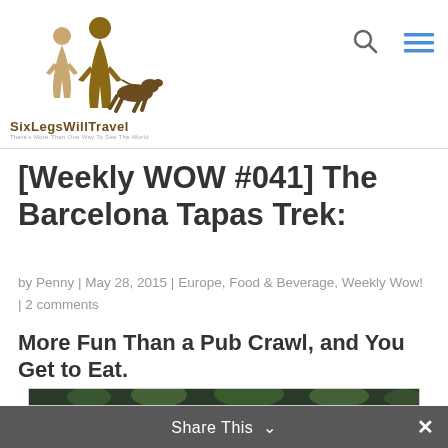SixLegsWillTravel — There's More Than One Way To See The World
[Weekly WOW #041] The Barcelona Tapas Trek:
by Penny | May 28, 2015 | Europe, Food & Beverage, Weekly Wow! | 2 comments
More Fun Than a Pub Crawl, and You Get to Eat.
[Figure (photo): Outdoor restaurant or bar area with lush green hanging plants and foliage against a dark architectural background]
Share This